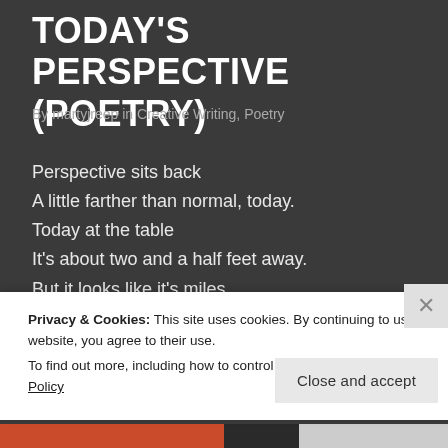TODAY'S PERSPECTIVE (POETRY)
By martyjreep in Creative Writing, Poetry
Perspective sits back
A little farther than normal, today.
Today at the table
It's about two and a half feet away.
But it looks like it's miles.
Actually, I know it's only a little bit –
Instead of far –
But the whole perspective thing,
Privacy & Cookies: This site uses cookies. By continuing to use this website, you agree to their use.
To find out more, including how to control cookies, see here: Cookie Policy